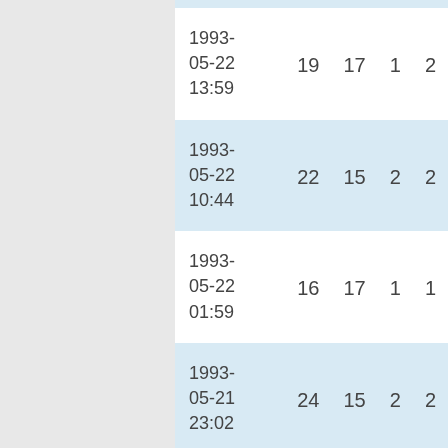| Date | Col1 | Col2 | Col3 | Col4 |
| --- | --- | --- | --- | --- |
| 1993-05-22 13:59 | 19 | 17 | 1 | 2 |
| 1993-05-22 10:44 | 22 | 15 | 2 | 2 |
| 1993-05-22 01:59 | 16 | 17 | 1 | 1 |
| 1993-05-21 23:02 | 24 | 15 | 2 | 2 |
| 1993-05-21 20:00 | 22 | 15 | 1 | 2 |
| 1993-05-21 | 19 | 17 | 1 | 2 |